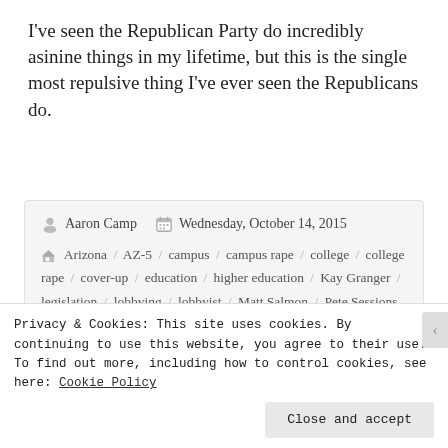I've seen the Republican Party do incredibly asinine things in my lifetime, but this is the single most repulsive thing I've ever seen the Republicans do.
Aaron Camp  Wednesday, October 14, 2015
Arizona / AZ-5 / campus / campus rape / college / college rape / cover-up / education / higher education / Kay Granger / legislation / lobbying / lobbyist / Matt Salmon / Pete Sessions / pro-rape legislation / proposal / rape / rape culture / Safe Campus Act / SCA / Senate Majority Leader / Senate Republican Leader / sexual assault / Texas /
Privacy & Cookies: This site uses cookies. By continuing to use this website, you agree to their use.
To find out more, including how to control cookies, see here: Cookie Policy
Close and accept